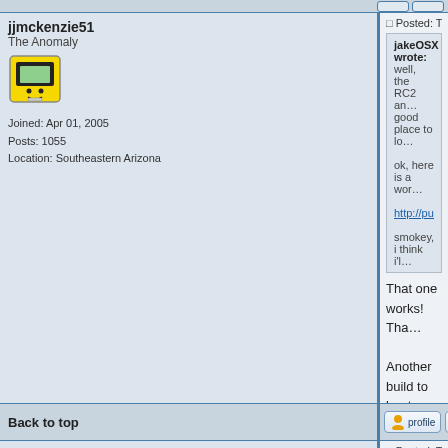jjmckenzie51 / The Anomaly / Joined: Apr 01, 2005 / Posts: 1055 / Location: Southeastern Arizona
Posted: Tue Oct 18, 2... jakeOSX wrote: well, the RC2 an... good place to lo... ok, here is a wor... http://public.plan... smokey, i think i'l... That one works! Tha... Another build to beat... James
Back to top
[Figure (screenshot): profile and pm buttons]
valterb / The Anomaly (earlier version) / Joined: Sep 23, 2005 / Posts: 463 / Location: San Giuliano Terme, Pisa, Italy
Posted: Thu Oct 20, 2... Thank you very muc... As usual I have pack... download from